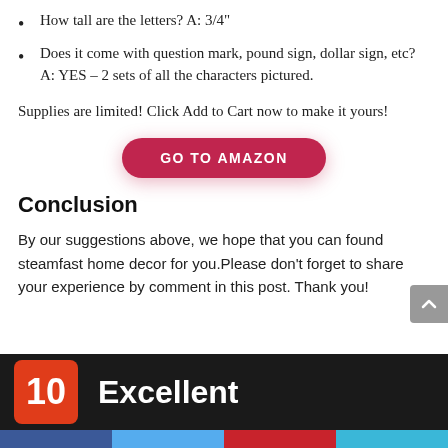How tall are the letters? A: 3/4"
Does it come with question mark, pound sign, dollar sign, etc? A: YES – 2 sets of all the characters pictured.
Supplies are limited! Click Add to Cart now to make it yours!
[Figure (other): Red pill-shaped button with white bold uppercase text: GO TO AMAZON]
Conclusion
By our suggestions above, we hope that you can found steamfast home decor for you.Please don't forget to share your experience by comment in this post. Thank you!
[Figure (infographic): Dark banner with red score box showing '10' and text 'Excellent' in white, with social media bar at bottom in blue, light blue, red, and teal.]